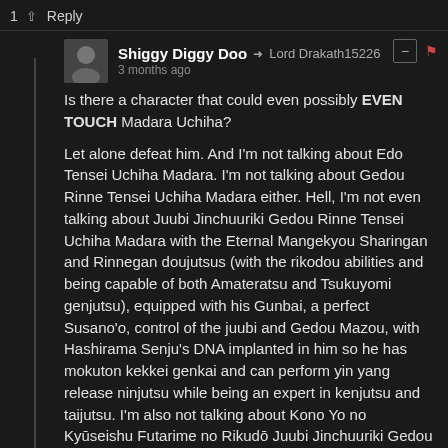1 ↑ Reply
Shiggy Diggy Doo → Lord Drakath15226
3 months ago
Is there a character that could even possibly EVEN TOUCH Madara Uchiha?

Let alone defeat him. And I'm not talking about Edo Tensei Uchiha Madara. I'm not talking about Gedou Rinne Tensei Uchiha Madara either. Hell, I'm not even talking about Juubi Jinchuuriki Gedou Rinne Tensei Uchiha Madara with the Eternal Mangekyou Sharingan and Rinnegan doujutsus (with the rikodou abilities and being capable of both Amateratsu and Tsukuyomi genjutsu), equipped with his Gunbai, a perfect Susano'o, control of the juubi and Gedou Mazou, with Hashirama Senju's DNA implanted in him so he has mokuton kekkei genkai and can perform yin yang release ninjutsu while being an expert in kenjutsu and taijutsu. I'm also not talking about Kono Yo no Kyūseishu Futarime no Rikudō Juubi Jinchuuriki Gedou Rinne Tensei Uchiha Madara with the Eternal Mangekyou Sharingan (which is capable of Enton Amaterasu, Izanagi, Izanami and